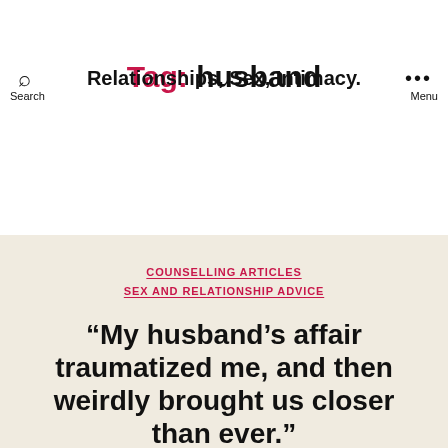Relationships, Sex, Intimacy.
Tag: husband
COUNSELLING ARTICLES
SEX AND RELATIONSHIP ADVICE
“My husband’s affair traumatized me, and then weirdly brought us closer than ever.”